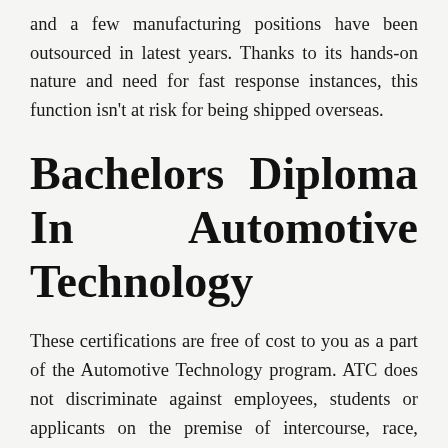and a few manufacturing positions have been outsourced in latest years. Thanks to its hands-on nature and need for fast response instances, this function isn't at risk for being shipped overseas.
Bachelors Diploma In Automotive Technology
These certifications are free of cost to you as a part of the Automotive Technology program. ATC does not discriminate against employees, students or applicants on the premise of intercourse, race, colour, age, religion, ethnic origin, sexual